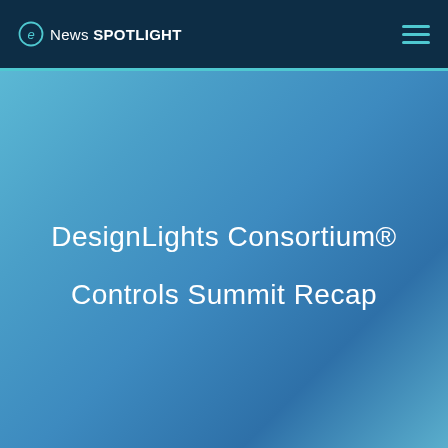e News SPOTLIGHT
DesignLights Consortium® Controls Summit Recap